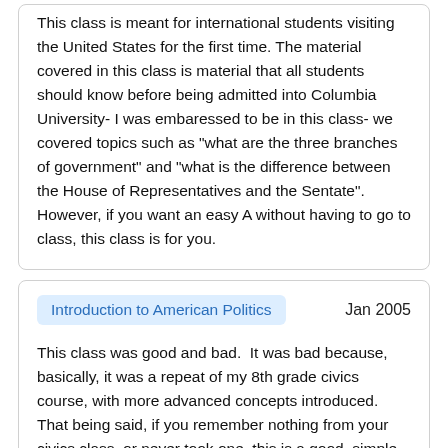This class is meant for international students visiting the United States for the first time. The material covered in this class is material that all students should know before being admitted into Columbia University- I was embaressed to be in this class- we covered topics such as "what are the three branches of government" and "what is the difference between the House of Representatives and the Sentate". However, if you want an easy A without having to go to class, this class is for you.
Introduction to American Politics
Jan 2005
This class was good and bad.  It was bad because, basically, it was a repeat of my 8th grade civics course, with more advanced concepts introduced. That being said, if you remember nothing from your civics class, or never took one, this is a good, simple